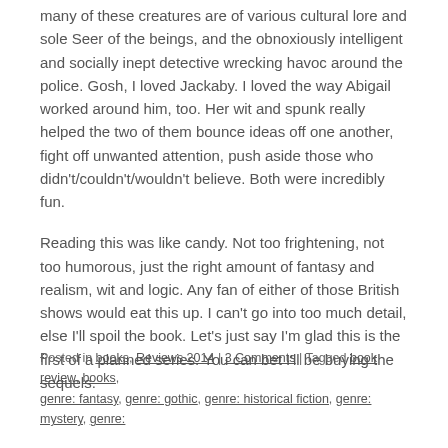many of these creatures are of various cultural lore and sole Seer of the beings, and the obnoxiously intelligent and socially inept detective wrecking havoc around the police. Gosh, I loved Jackaby. I loved the way Abigail worked around him, too. Her wit and spunk really helped the two of them bounce ideas off one another, fight off unwanted attention, push aside those who didn't/couldn't/wouldn't believe. Both were incredibly fun.
Reading this was like candy. Not too frightening, not too humorous, just the right amount of fantasy and realism, wit and logic. Any fan of either of those British shows would eat this up. I can't go into too much detail, else I'll spoil the book. Let's just say I'm glad this is the first of a planned series. You can bet I'll be buying the sequels.
Posted in books, Reviews 2014 | 3 Comments | Tagged book review, books, genre: fantasy, genre: gothic, genre: historical fiction, genre: mystery, genre: